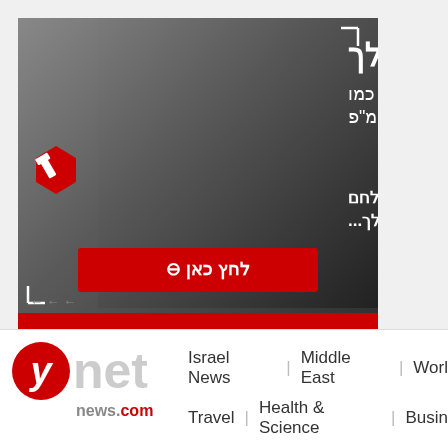[Figure (illustration): Advertisement banner for PsakDin (Israeli legal platform). Features a soldier in military gear on a dark background. Hebrew text reads: 'Your lawyer needs to fight like a soldier' and 'for a lawyer who will fight for you...' with a red call-to-action button labeled 'Click here'. Red hexagonal logo with gavel icon on the left. PsakDin brand logo at the bottom right. Footer text in Hebrew at bottom left.]
ynet news.com | Israel News | Middle East | World | Travel | Health & Science | Business